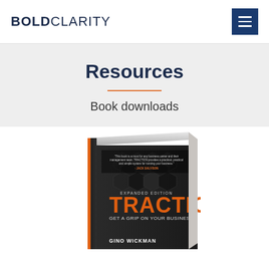BOLDCLARITY
Resources
Book downloads
[Figure (photo): 3D rendered book cover of 'Traction: Get a Grip on Your Business' by Gino Wickman, Expanded Edition. Dark cover with hexagonal gear/metal texture background, orange title text 'TRACTION' and author name 'GINO WICKMAN' in white.]